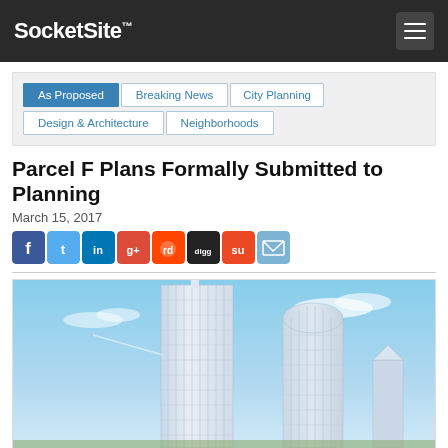SocketSite™
As Proposed
Breaking News
City Planning
Design & Architecture
Neighborhoods
Parcel F Plans Formally Submitted to Planning
March 15, 2017
[Figure (photo): Architectural rendering of two modern glass skyscrapers against a blue sky, with a smaller tower visible in the background. The buildings appear to be a proposed development in San Francisco.]